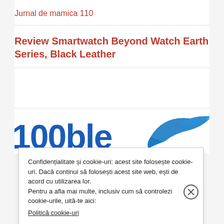Jurnal de mamica 110
Review Smartwatch Beyond Watch Earth Series, Black Leather
[Figure (logo): Partial logo showing '100ble' text in blue with a bird/wave graphic in blue on the right side]
Confidențialitate și cookie-uri: acest site folosește cookie-uri. Dacă continui să folosești acest site web, ești de acord cu utilizarea lor.
Pentru a afla mai multe, inclusiv cum să controlezi cookie-urile, uită-te aici: Politică cookie-uri
Închide și acceptă
RAPORTEAZĂ ACEASTĂ RECLAMĂ